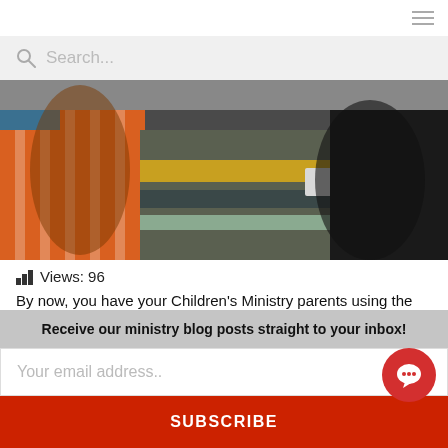Navigation bar with hamburger menu
Search...
[Figure (photo): Close-up photo of children seated in a classroom, showing colorful clothing — orange striped shirt on left, striped yellow/dark jacket in center, black shirt on right.]
Views: 96
By now, you have your Children's Ministry parents using the ACS Checkpoint system. Parents are not losing th
tags and all of your volunteers are doing a great job
Receive our ministry blog posts straight to your inbox!
Your email address..
SUBSCRIBE